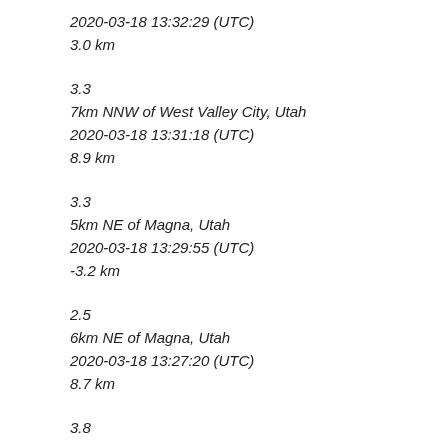2020-03-18 13:32:29 (UTC)
3.0 km
3.3
7km NNW of West Valley City, Utah
2020-03-18 13:31:18 (UTC)
8.9 km
3.3
5km NE of Magna, Utah
2020-03-18 13:29:55 (UTC)
-3.2 km
2.5
6km NE of Magna, Utah
2020-03-18 13:27:20 (UTC)
8.7 km
3.8